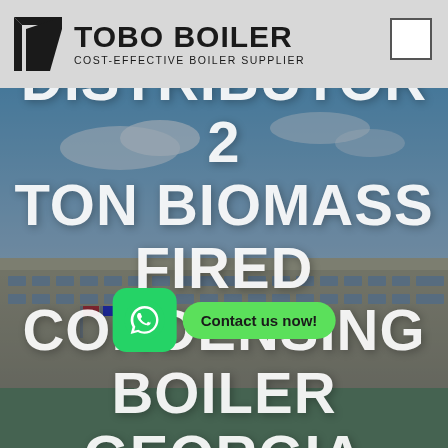[Figure (logo): Tobo Boiler logo with geometric arrow icon, bold brand name 'TOBO BOILER' and tagline 'COST-EFFECTIVE BOILER SUPPLIER' on a grey header bar]
[Figure (photo): Background photo of an industrial building/boiler facility with blue sky and flags]
DISTRIBUTOR 2 TON BIOMASS FIRED CONDENSING BOILER GEORGIA
[Figure (other): WhatsApp contact button with green rounded square icon and 'Contact us now!' green pill bubble]